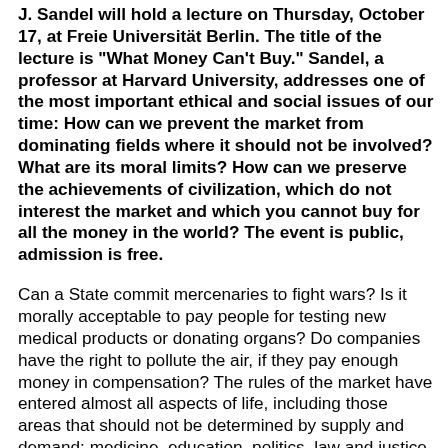J. Sandel will hold a lecture on Thursday, October 17, at Freie Universität Berlin. The title of the lecture is "What Money Can't Buy." Sandel, a professor at Harvard University, addresses one of the most important ethical and social issues of our time: How can we prevent the market from dominating fields where it should not be involved? What are its moral limits? How can we preserve the achievements of civilization, which do not interest the market and which you cannot buy for all the money in the world? The event is public, admission is free.
Can a State commit mercenaries to fight wars? Is it morally acceptable to pay people for testing new medical products or donating organs? Do companies have the right to pollute the air, if they pay enough money in compensation? The rules of the market have entered almost all aspects of life, including those areas that should not be determined by supply and demand: medicine, education, politics, law and justice, art, sports